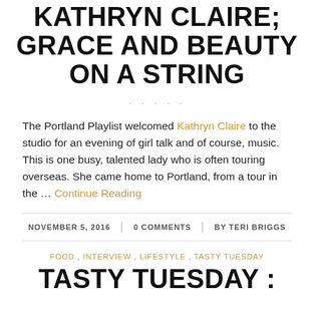KATHRYN CLAIRE; GRACE AND BEAUTY ON A STRING
The Portland Playlist welcomed Kathryn Claire to the studio for an evening of girl talk and of course, music. This is one busy, talented lady who is often touring overseas. She came home to Portland, from a tour in the … Continue Reading
NOVEMBER 5, 2016 | 0 COMMENTS | BY TERI BRIGGS
FOOD, INTERVIEW, LIFESTYLE, TASTY TUESDAY
TASTY TUESDAY :